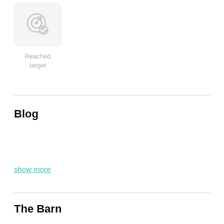[Figure (illustration): A gray rounded-square icon showing a target/goal with a checkmark badge overlay, representing 'Reached target']
Reached target
Blog
show more
The Barn